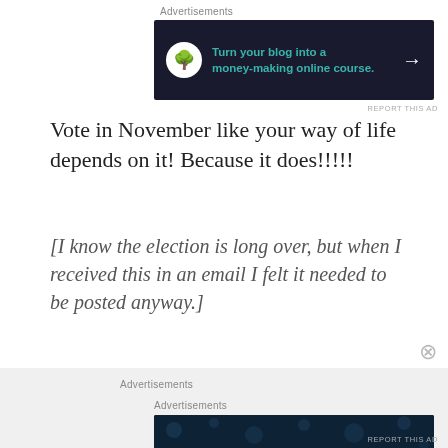[Figure (other): Advertisement banner with dark navy background showing bonsai tree icon in white circle and teal text 'Turn your blog into a money-making online course.' with white arrow]
Vote in November like your way of life depends on it! Because it does!!!!!
[I know the election is long over, but when I received this in an email I felt it needed to be posted anyway.]
[Figure (other): Advertisement banner with dark navy background and dot pattern, white bold text 'Create surveys, polls, quizzes,']
Advertisements